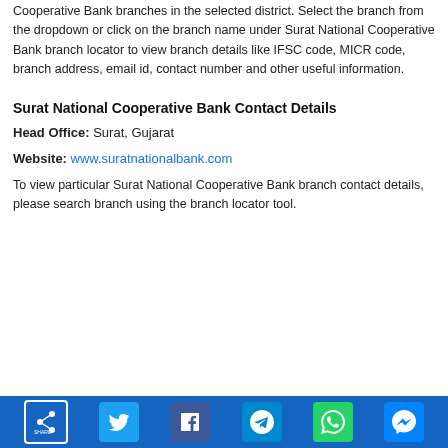Cooperative Bank branches in the selected district. Select the branch from the dropdown or click on the branch name under Surat National Cooperative Bank branch locator to view branch details like IFSC code, MICR code, branch address, email id, contact number and other useful information.
Surat National Cooperative Bank Contact Details
Head Office: Surat, Gujarat
Website: www.suratnationalbank.com
To view particular Surat National Cooperative Bank branch contact details, please search branch using the branch locator tool.
Social share icons: Share, Twitter, Facebook, Telegram, WhatsApp, Messenger